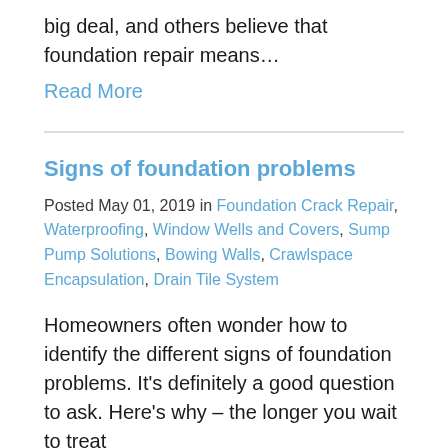big deal, and others believe that foundation repair means…
Read More
Signs of foundation problems
Posted May 01, 2019 in Foundation Crack Repair, Waterproofing, Window Wells and Covers, Sump Pump Solutions, Bowing Walls, Crawlspace Encapsulation, Drain Tile System
Homeowners often wonder how to identify the different signs of foundation problems. It's definitely a good question to ask. Here's why – the longer you wait to treat